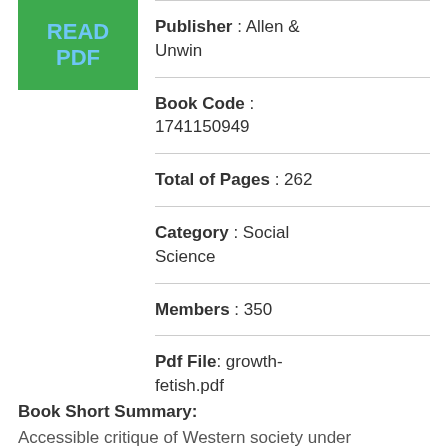[Figure (other): Green button with text READ PDF in blue]
Publisher : Allen & Unwin
Book Code : 1741150949
Total of Pages : 262
Category : Social Science
Members : 350
Pdf File: growth-fetish.pdf
Book Short Summary:
Accessible critique of Western society under